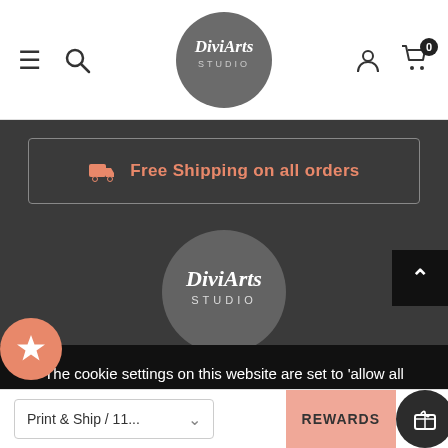[Figure (screenshot): Website header with hamburger menu, search icon, DiviArts Studio circular logo, user icon, and shopping cart with badge showing 0]
Free Shipping on all orders
[Figure (logo): DiviArts Studio circular logo in gray on dark background]
The cookie settings on this website are set to ‘allow all cookies’ to give you the very best experience. Please click Accept Cookies to continue to use the site.
PRIVACY POLICY   CLOSE & ACCEPT ✓
Print & Ship / 11...
REWARDS